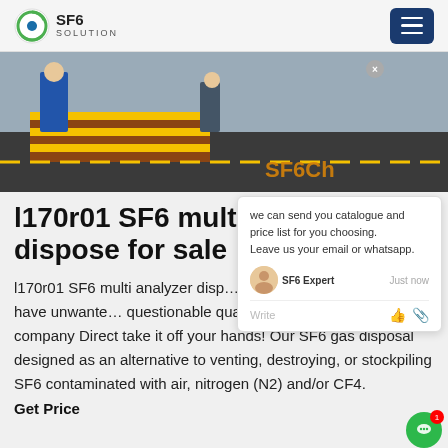SF6 SOLUTION
[Figure (photo): Outdoor industrial facility scene with workers in blue gear near yellow-striped barriers. SF6China logo text visible in orange/gold at lower right.]
l170r01 SF6 multi analyzer dispose for sale
l170r01 SF6 multi analyzer dispose for sale SF6 Gas Disposal:Do you have unwanted questionable quality at your facility? Let our company Direct take it off your hands! Our SF6 gas disposal designed as an alternative to venting, destroying, or stockpiling SF6 contaminated with air, nitrogen (N2) and/or CF4.
Get Price